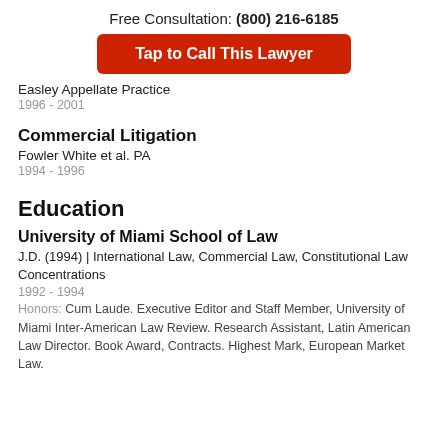Free Consultation: (800) 216-6185
Tap to Call This Lawyer
Easley Appellate Practice
1996 - 2001
Commercial Litigation
Fowler White et al. PA
1994 - 1996
Education
University of Miami School of Law
J.D. (1994) | International Law, Commercial Law, Constitutional Law Concentrations
1992 - 1994
Honors: Cum Laude. Executive Editor and Staff Member, University of Miami Inter-American Law Review. Research Assistant, Latin American Law Director. Book Award, Contracts. Highest Mark, European Market Law.